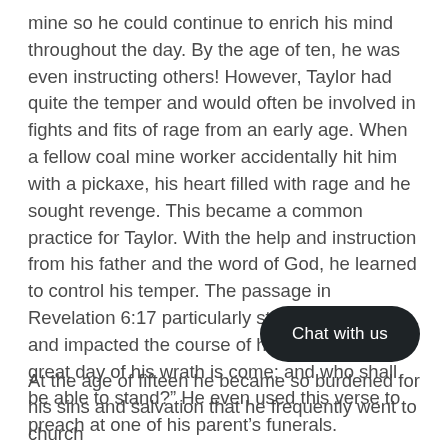mine so he could continue to enrich his mind throughout the day. By the age of ten, he was even instructing others! However, Taylor had quite the temper and would often be involved in fights and fits of rage from an early age. When a fellow coal mine worker accidentally hit him with a pickaxe, his heart filled with rage and he sought revenge. This became a common practice for Taylor. With the help and instruction from his father and the word of God, he learned to control his temper. The passage in Revelation 6:17 particularly stood out to him and impacted the course of his life: “For the great day of his wrath is come; and who shall be able to stand?” He even used this verse to preach at one of his parent’s funerals.
At the age of fifteen he became so burdened for his sins and salvation that he frequently went to church